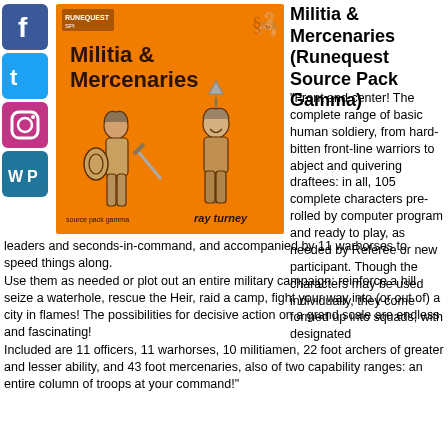[Figure (illustration): Social media icons column on the left: Facebook (blue f), Twitter (blue bird), Instagram (camera), WordPress (WP)]
[Figure (illustration): Book cover for 'Militia & Mercenaries' (Runequest Source Pack Gamma) by Ray Turney. Orange cover with two illustrated medieval warriors holding weapons.]
Militia & Mercenaries (Runequest Source Pack Gamma)
"Front and center! The complete range of basic human soldiery, from hard-bitten front-line warriors to abject and quivering draftees: in all, 105 complete characters pre-rolled by computer program and ready to play, as needed by Referee or new participant. Though the characters may be used individually, they come formed up into squads, with designated leaders and seconds-in-command, and accompanied by 11 warhorses to speed things along.
Use them as needed or plot out an entire military campaign: reinforce a hill, seize a waterhole, rescue the Heir, raid a camp, fight your way into (or out of) a city in flames! The possibilities for decisive action on a grand scale are endless and fascinating!
Included are 11 officers, 11 warhorses, 10 militiamen, 22 foot archers of greater and lesser ability, and 43 foot mercenaries, also of two capability ranges: an entire column of troops at your command!"